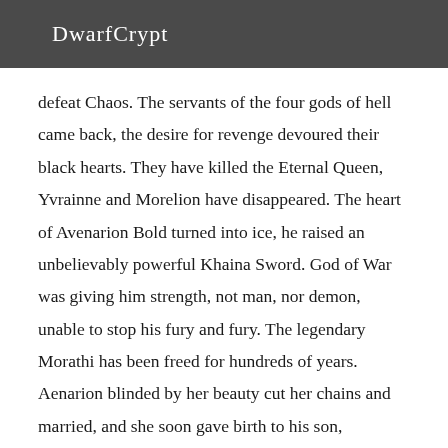DwarfCrypt
defeat Chaos. The servants of the four gods of hell came back, the desire for revenge devoured their black hearts. They have killed the Eternal Queen, Yvrainne and Morelion have disappeared. The heart of Avenarion Bold turned into ice, he raised an unbelievably powerful Khaina Sword. God of War was giving him strength, not man, nor demon, unable to stop his fury and fury. The legendary Morathi has been freed for hundreds of years. Aenarion blinded by her beauty cut her chains and married, and she soon gave birth to his son, Malekhita cursed. In memory of this event every ten years is the Festival of Light, during which the Elves recite the Song of the Creator.